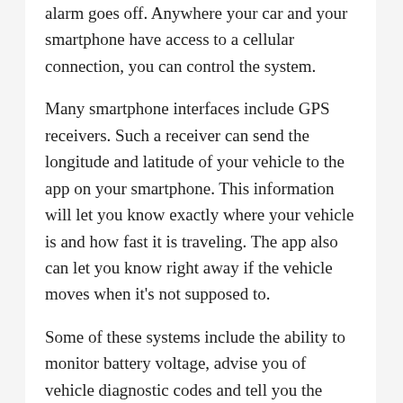alarm goes off. Anywhere your car and your smartphone have access to a cellular connection, you can control the system.
Many smartphone interfaces include GPS receivers. Such a receiver can send the longitude and latitude of your vehicle to the app on your smartphone. This information will let you know exactly where your vehicle is and how fast it is traveling. The app also can let you know right away if the vehicle moves when it's not supposed to.
Some of these systems include the ability to monitor battery voltage, advise you of vehicle diagnostic codes and tell you the temperature of the vehicle interior. A few of these systems include a built-in backup battery and will alert you if the unit is disconnected.